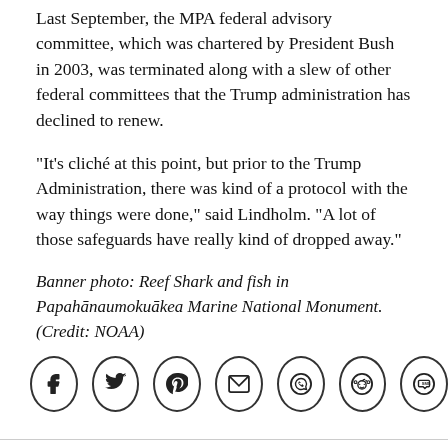Last September, the MPA federal advisory committee, which was chartered by President Bush in 2003, was terminated along with a slew of other federal committees that the Trump administration has declined to renew.
"It's cliché at this point, but prior to the Trump Administration, there was kind of a protocol with the way things were done," said Lindholm. "A lot of those safeguards have really kind of dropped away."
Banner photo: Reef Shark and fish in Papahānaumokuākea Marine National Monument. (Credit: NOAA)
[Figure (infographic): Social media sharing icons: Facebook, Twitter, Pinterest, Email, WhatsApp, Reddit, SMS]